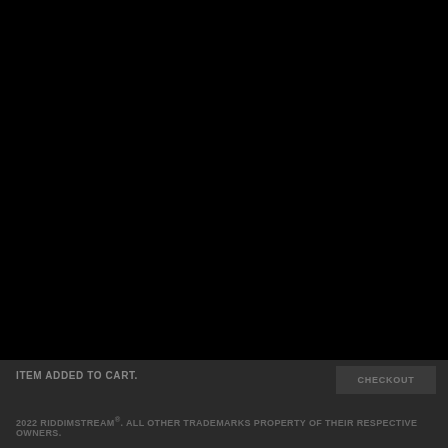DJ JAHMAR – ZONA RIDDIM – DOWNLOAD DJ PACK
×
ITEM ADDED TO CART.
CHECKOUT
2022 RIDDIMSTREAM®. ALL OTHER TRADEMARKS PROPERTY OF THEIR RESPECTIVE OWNERS.